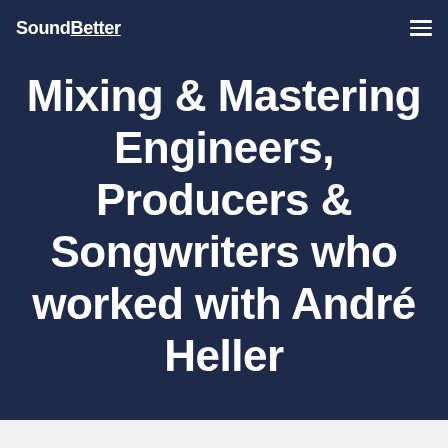SoundBetter
Mixing & Mastering Engineers, Producers & Songwriters who worked with André Heller